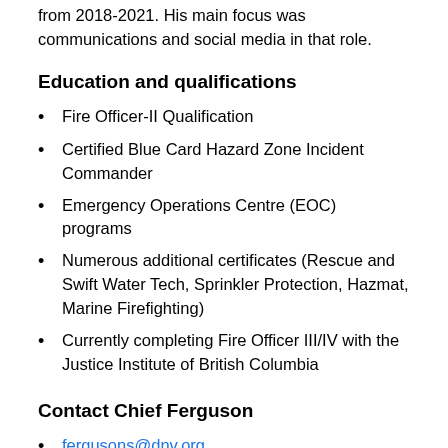from 2018-2021. His main focus was communications and social media in that role.
Education and qualifications
Fire Officer-II Qualification
Certified Blue Card Hazard Zone Incident Commander
Emergency Operations Centre (EOC) programs
Numerous additional certificates (Rescue and Swift Water Tech, Sprinkler Protection, Hazmat, Marine Firefighting)
Currently completing Fire Officer III/IV with the Justice Institute of British Columbia
Contact Chief Ferguson
fergusons@dnv.org